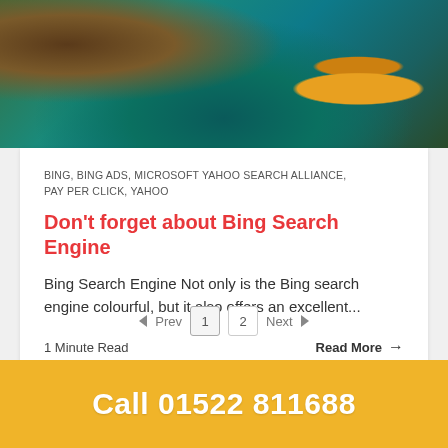[Figure (photo): Photograph of a colourful cave or grotto with green and teal tones, with an orange/gold ornamental structure visible in the background right.]
BING, BING ADS, MICROSOFT YAHOO SEARCH ALLIANCE, PAY PER CLICK, YAHOO
Don't forget about Bing Search Engine
Bing Search Engine Not only is the Bing search engine colourful, but it also offers an excellent...
1 Minute Read
Read More →
Prev  1  2  Next
Call 01522 811688